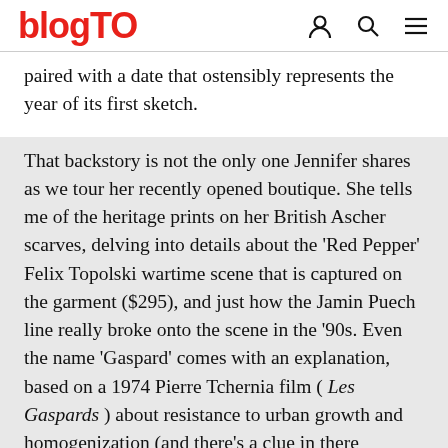blogTO
paired with a date that ostensibly represents the year of its first sketch.
That backstory is not the only one Jennifer shares as we tour her recently opened boutique. She tells me of the heritage prints on her British Ascher scarves, delving into details about the 'Red Pepper' Felix Topolski wartime scene that is captured on the garment ($295), and just how the Jamin Puech line really broke onto the scene in the '90s. Even the name 'Gaspard' comes with an explanation, based on a 1974 Pierre Tchernia film ( Les Gaspards ) about resistance to urban growth and homogenization (and there's a clue in there somewhere).